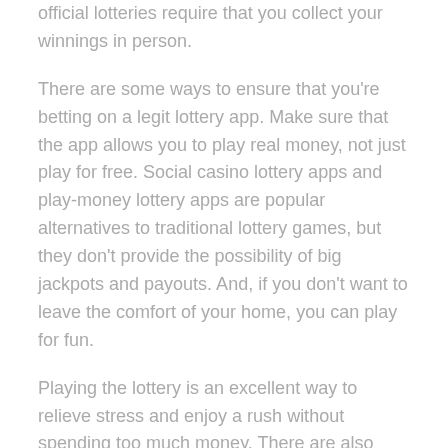official lotteries require that you collect your winnings in person.
There are some ways to ensure that you're betting on a legit lottery app. Make sure that the app allows you to play real money, not just play for free. Social casino lottery apps and play-money lottery apps are popular alternatives to traditional lottery games, but they don't provide the possibility of big jackpots and payouts. And, if you don't want to leave the comfort of your home, you can play for fun.
Playing the lottery is an excellent way to relieve stress and enjoy a rush without spending too much money. There are also lottery apps for many of the major lotteries, making it easier to play while traveling. The best part is that you can play from any country you prefer, thanks to the ease and convenience of these apps. If you'd like to play a lottery game in a new